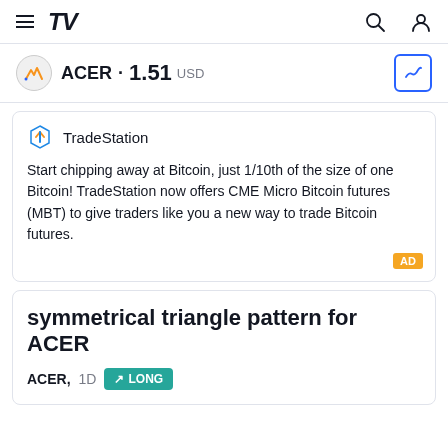TradingView navigation bar with hamburger menu, TV logo, search icon, and user icon
ACER · 1.51 USD
TradeStation
Start chipping away at Bitcoin, just 1/10th of the size of one Bitcoin! TradeStation now offers CME Micro Bitcoin futures (MBT) to give traders like you a new way to trade Bitcoin futures.
symmetrical triangle pattern for ACER
ACER, 1D   ↗ LONG